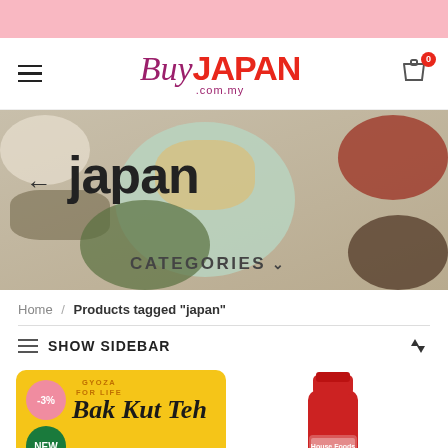BuyJAPAN.com.my
[Figure (photo): Hero banner with food ingredients (nuts, seeds, banana chips) and the word 'japan' overlaid with CATEGORIES dropdown]
Home / Products tagged "japan"
≡ SHOW SIDEBAR ↑↓
[Figure (photo): Product card with yellow background showing Bak Kut Teh Local Delight with -3% discount badge and NEW badge, Gyoza For Life branding]
[Figure (photo): Red spice/seasoning bottle from House Foods brand, partially visible]